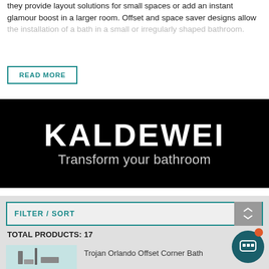they provide layout solutions for small spaces or add an instant glamour boost in a larger room. Offset and space saver designs allow the installation of a bath in a small or irregularly shaped bathroom.
READ MORE
[Figure (logo): Kaldewei brand advertisement banner with black background. Large white bold text 'KALDEWEI' and grey text beneath 'Transform your bathroom']
FILTER / SORT
TOTAL PRODUCTS: 17
[Figure (photo): Small product thumbnail image of a bathroom corner bath]
Trojan Orlando Offset Corner Bath